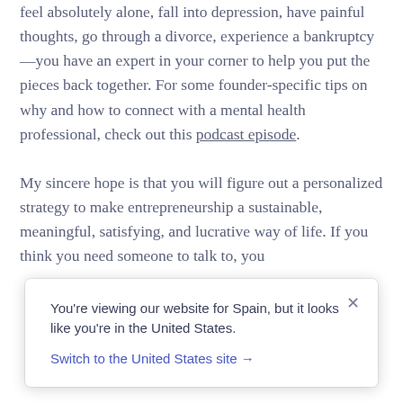feel absolutely alone, fall into depression, have painful thoughts, go through a divorce, experience a bankruptcy—you have an expert in your corner to help you put the pieces back together. For some founder-specific tips on why and how to connect with a mental health professional, check out this podcast episode.
My sincere hope is that you will figure out a personalized strategy to make entrepreneurship a sustainable, meaningful, satisfying, and lucrative way of life. If you think you need someone to talk to, you
You're viewing our website for Spain, but it looks like you're in the United States.
Switch to the United States site →
INTERESTED IN IMPROVING YOUR